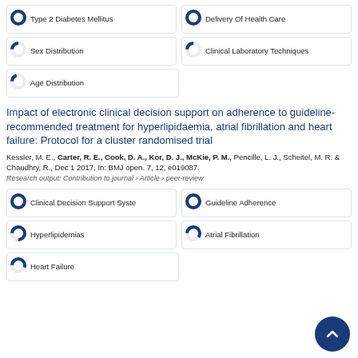[Figure (infographic): Donut badge: Type 2 Diabetes Mellitus, ~100%]
[Figure (infographic): Donut badge: Delivery Of Health Care, ~100%]
[Figure (infographic): Donut badge: Sex Distribution, ~25%]
[Figure (infographic): Donut badge: Clinical Laboratory Techniques, ~25%]
[Figure (infographic): Donut badge: Age Distribution, ~20%]
Impact of electronic clinical decision support on adherence to guideline-recommended treatment for hyperlipidaemia, atrial fibrillation and heart failure: Protocol for a cluster randomised trial
Kessler, M. E., Carter, R. E., Cook, D. A., Kor, D. J., McKie, P. M., Pencille, L. J., Scheitel, M. R. & Chaudhry, R., Dec 1 2017, In: BMJ open. 7, 12, e019087.
Research output: Contribution to journal › Article › peer-review
[Figure (infographic): Donut badge: Clinical Decision Support Syste, ~100%]
[Figure (infographic): Donut badge: Guideline Adherence, ~100%]
[Figure (infographic): Donut badge: Hyperlipidemias, ~75%]
[Figure (infographic): Donut badge: Atrial Fibrillation, ~60%]
[Figure (infographic): Donut badge: Heart Failure, ~55%]